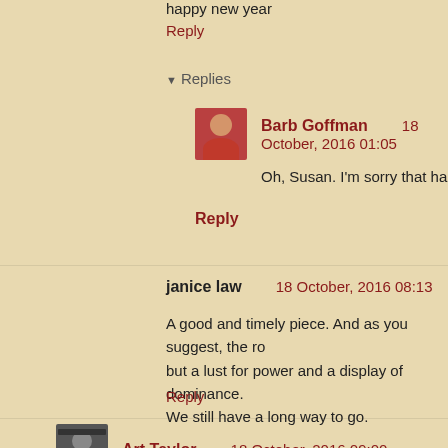happy new year
Reply
Replies
Barb Goffman   18 October, 2016 01:05
Oh, Susan. I'm sorry that happened to you a...
Reply
janice law   18 October, 2016 08:13
A good and timely piece. And as you suggest, the ro... but a lust for power and a display of dominance. We still have a long way to go.
Reply
Art Taylor   18 October, 2016 09:00